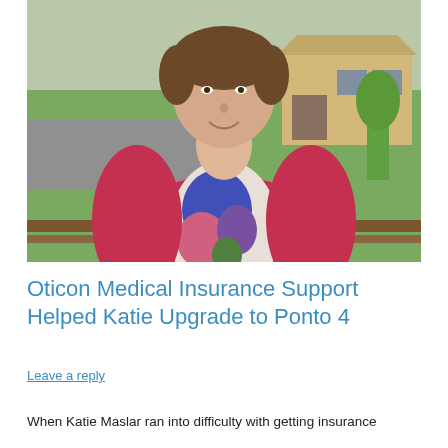[Figure (photo): A woman wearing a red cardigan over a floral top standing on a porch/deck with a building and trees visible in the background.]
Oticon Medical Insurance Support Helped Katie Upgrade to Ponto 4
Leave a reply
When Katie Maslar ran into difficulty with getting insurance